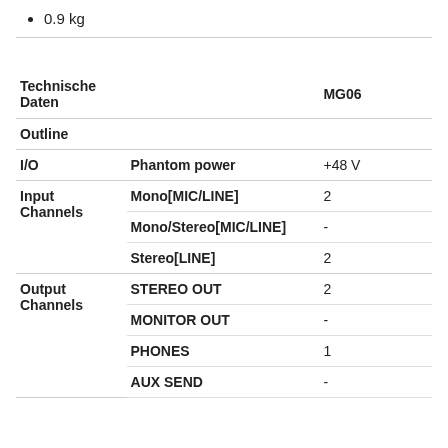0.9 kg
| Technische Daten |  | MG06 |
| --- | --- | --- |
| Outline |  |  |
| I/O | Phantom power | +48 V |
| Input Channels | Mono[MIC/LINE] | 2 |
|  | Mono/Stereo[MIC/LINE] | - |
|  | Stereo[LINE] | 2 |
| Output Channels | STEREO OUT | 2 |
|  | MONITOR OUT | - |
|  | PHONES | 1 |
|  | AUX SEND | - |